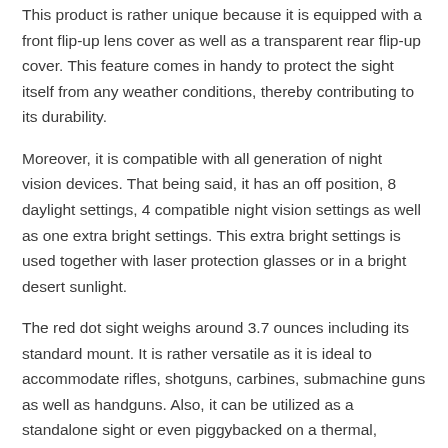This product is rather unique because it is equipped with a front flip-up lens cover as well as a transparent rear flip-up cover. This feature comes in handy to protect the sight itself from any weather conditions, thereby contributing to its durability.
Moreover, it is compatible with all generation of night vision devices. That being said, it has an off position, 8 daylight settings, 4 compatible night vision settings as well as one extra bright settings. This extra bright settings is used together with laser protection glasses or in a bright desert sunlight.
The red dot sight weighs around 3.7 ounces including its standard mount. It is rather versatile as it is ideal to accommodate rifles, shotguns, carbines, submachine guns as well as handguns. Also, it can be utilized as a standalone sight or even piggybacked on a thermal, magnifying or night vision optic.
It features the ACET technology which provides 50,000 hours (approximately 5 years) of constant operation with only using one